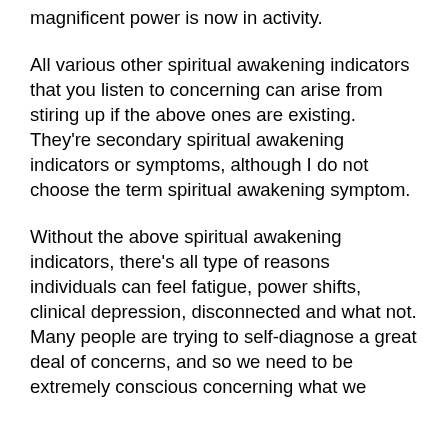magnificent power is now in activity.
All various other spiritual awakening indicators that you listen to concerning can arise from stiring up if the above ones are existing. They're secondary spiritual awakening indicators or symptoms, although I do not choose the term spiritual awakening symptom.
Without the above spiritual awakening indicators, there's all type of reasons individuals can feel fatigue, power shifts, clinical depression, disconnected and what not. Many people are trying to self-diagnose a great deal of concerns, and so we need to be extremely conscious concerning what we "label" or are claiming. When it comes to the